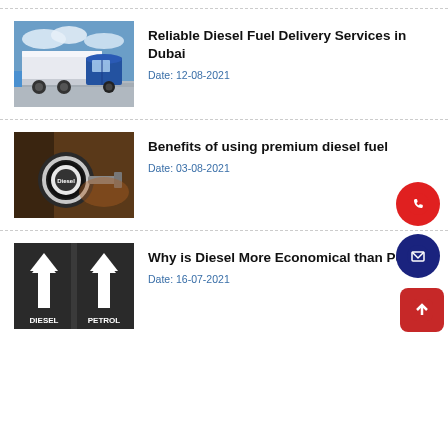[Figure (photo): Blue semi-truck with white trailer on a parking lot with cloudy sky]
Reliable Diesel Fuel Delivery Services in Dubai
Date: 12-08-2021
[Figure (photo): Close-up of a diesel fuel cap/nozzle with 'Diesel' label on a dark background]
Benefits of using premium diesel fuel
Date: 03-08-2021
[Figure (photo): Road with two lanes labeled DIESEL and PETROL with arrows]
Why is Diesel More Economical than Petrol
Date: 16-07-2021